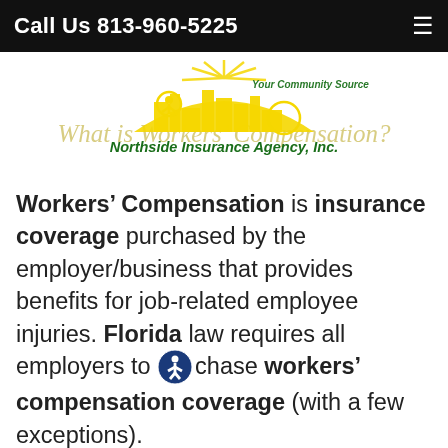Call Us 813-960-5225
[Figure (logo): Northside Insurance Agency, Inc. logo with cityscape silhouette, sun rays, and text 'Your Community Source' above 'Northside Insurance Agency, Inc.' in green. Faded watermark text 'What is Workers' Compensation?' visible behind logo.]
Workers' Compensation is insurance coverage purchased by the employer/business that provides benefits for job-related employee injuries. Florida law requires all employers to purchase workers' compensation coverage (with a few exceptions).